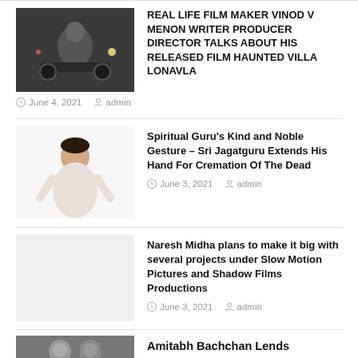[Figure (photo): Photo of a person on a motorcycle/scooter at night]
REAL LIFE FILM MAKER VINOD V MENON WRITER PRODUCER DIRECTOR TALKS ABOUT HIS RELEASED FILM HAUNTED VILLA LONAVLA
June 4, 2021   admin
[Figure (photo): Photo of a person in white traditional attire against white background]
Spiritual Guru's Kind and Noble Gesture – Sri Jagatguru Extends His Hand For Cremation Of The Dead
June 3, 2021   admin
[Figure (photo): Blank/placeholder grey image]
Naresh Midha plans to make it big with several projects under Slow Motion Pictures and Shadow Films Productions
June 3, 2021   admin
[Figure (photo): Photo of two people — Amitabh Bachchan related]
Amitabh Bachchan Lends Supports